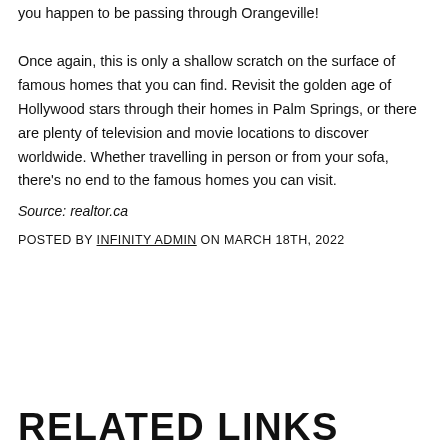you happen to be passing through Orangeville! Once again, this is only a shallow scratch on the surface of famous homes that you can find. Revisit the golden age of Hollywood stars through their homes in Palm Springs, or there are plenty of television and movie locations to discover worldwide. Whether travelling in person or from your sofa, there’s no end to the famous homes you can visit.
Source: realtor.ca
POSTED BY INFINITY ADMIN ON MARCH 18TH, 2022
RELATED LINKS